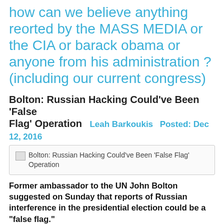how can we believe anything reorted by the MASS MEDIA or the CIA or barack obama or anyone from his administration ? (including our current congress)
Bolton: Russian Hacking Could've Been 'False Flag' Operation
Leah Barkoukis  Posted: Dec 12, 2016
[Figure (illustration): Thumbnail image for article: Bolton: Russian Hacking Could've Been 'False Flag' Operation]
Former ambassador to the UN John Bolton suggested on Sunday that reports of Russian interference in the presidential election could be a “false flag.”
“It is not at all clear to me, just viewing this from the outside, that this hacking into the DNC and